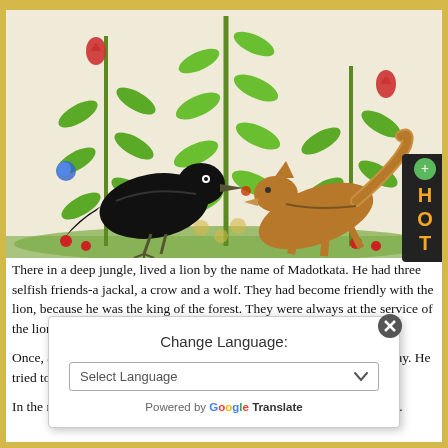[Figure (illustration): Medieval manuscript-style illustration of a black crow/raven and a fox/wolf facing each other among stylized green plants with red and blue flowers on a cream background.]
There in a deep jungle, lived a lion by the name of Madotkata. He had three selfish friends-a jackal, a crow and a wolf. They had become friendly with the lion, because he was the king of the forest. They were always at the service of the lion and obeyed him to meet their selfish ends.
Once, a camel got disoriented in the jungle while grazing and went astray. He tried to find the way out, but could not succeed.
In the meantime, those animals told the lion saw the camel, wandering...